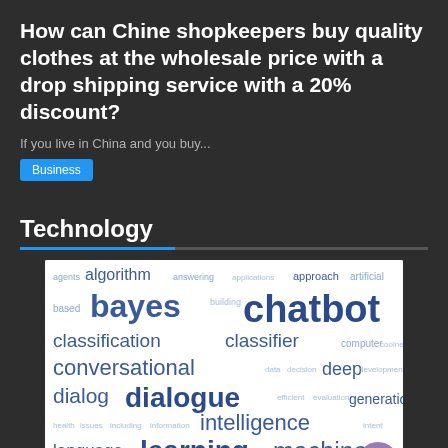How can Chine shopkeepers buy quality clothes at the wholesale price with a drop shipping service with a 20% discount?
If you live in China and you buy...
Business
Technology
[Figure (infographic): Word cloud on a white background featuring technology/AI terms. Prominent words include: chatbot (largest), bayes, classification, classifier, conversational, dialogue, dialog, intelligence, learning, machine, naive, systems, support, language, model, algorithm, approach, artificial, computer, deep, generation, data, decision, evaluation, natural, speech.]